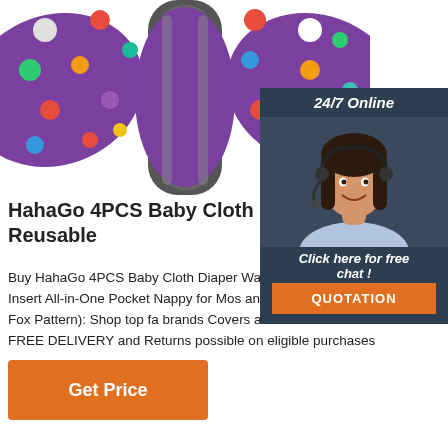[Figure (photo): Purple polka-dot baby cloth diaper with gray insert, shown from above on white background]
[Figure (infographic): 24/7 Online chat widget with female customer service agent wearing headset, 'Click here for free chat!' text, and orange QUOTATION button]
HahaGo 4PCS Baby Cloth Diaper Wa Reusable
Buy HahaGo 4PCS Baby Cloth Diaper Washable Diapers Insert All-in-One Pocket Nappy for Mos and Toddlers (Orange Fox Pattern): Shop top fa brands Covers at Amazon.com FREE DELIVERY and Returns possible on eligible purchases
Get Price